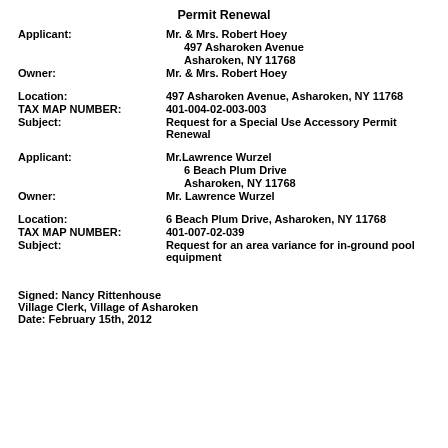Permit Renewal
Applicant: Mr. & Mrs. Robert Hoey, 497 Asharoken Avenue, Asharoken, NY 11768
Owner: Mr. & Mrs. Robert Hoey
Location: 497 Asharoken Avenue, Asharoken, NY 11768
TAX MAP NUMBER: 401-004-02-003-003
Subject: Request for a Special Use Accessory Permit Renewal
Applicant: Mr.Lawrence Wurzel, 6 Beach Plum Drive, Asharoken, NY 11768
Owner: Mr. Lawrence Wurzel
Location: 6 Beach Plum Drive, Asharoken, NY 11768
TAX MAP NUMBER: 401-007-02-039
Subject: Request for an area variance for in-ground pool equipment
Signed: Nancy Rittenhouse
Village Clerk, Village of Asharoken
Date: February 15th, 2012